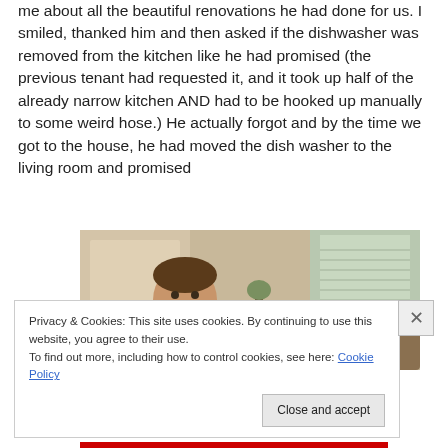me about all the beautiful renovations he had done for us. I smiled, thanked him and then asked if the dishwasher was removed from the kitchen like he had promised (the previous tenant had requested it, and it took up half of the already narrow kitchen AND had to be hooked up manually to some weird hose.) He actually forgot and by the time we got to the house, he had moved the dish washer to the living room and promised
[Figure (photo): Indoor photo showing a bearded man sitting in what appears to be a living room with a door, a plant, and furniture visible in the background.]
Privacy & Cookies: This site uses cookies. By continuing to use this website, you agree to their use.
To find out more, including how to control cookies, see here: Cookie Policy
Close and accept